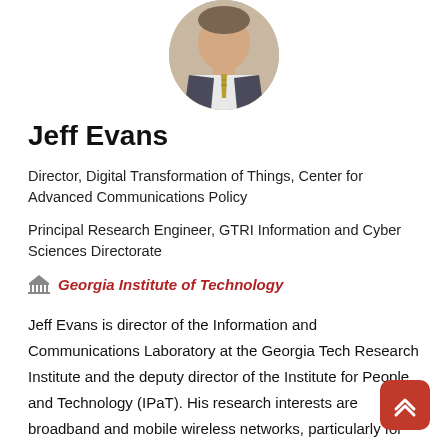[Figure (photo): Circular headshot photo of Jeff Evans, a man in a suit and tie]
Jeff Evans
Director, Digital Transformation of Things, Center for Advanced Communications Policy
Principal Research Engineer, GTRI Information and Cyber Sciences Directorate
Georgia Institute of Technology
Jeff Evans is director of the Information and Communications Laboratory at the Georgia Tech Research Institute and the deputy director of the Institute for People and Technology (IPaT). His research interests are broadband and mobile wireless networks, particularly for educational outreach and efficient delivery to underserved areas. For IPaT, Evans connects the research efforts across campus to enhance applied research development and international collaborations. He is also the director of the Foundations for the Future (F3) program, an ongoing outreach